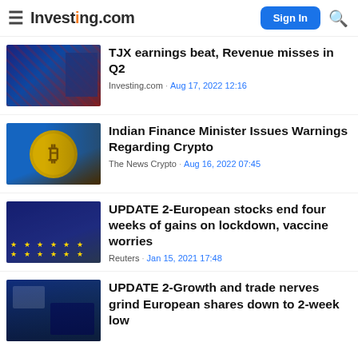Investing.com
TJX earnings beat, Revenue misses in Q2
Investing.com · Aug 17, 2022 12:16
Indian Finance Minister Issues Warnings Regarding Crypto
The News Crypto · Aug 16, 2022 07:45
UPDATE 2-European stocks end four weeks of gains on lockdown, vaccine worries
Reuters · Jan 15, 2021 17:48
UPDATE 2-Growth and trade nerves grind European shares down to 2-week low